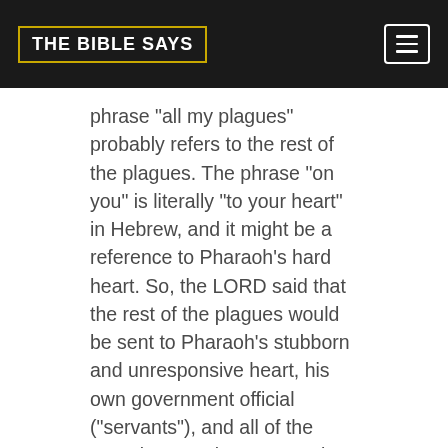THE BIBLE SAYS
phrase “all my plagues” probably refers to the rest of the plagues. The phrase “on you” is literally “to your heart” in Hebrew, and it might be a reference to Pharaoh’s hard heart. So, the LORD said that the rest of the plagues would be sent to Pharaoh’s stubborn and unresponsive heart, his own government official (“servants”), and all of the Egyptian people. No Egyptian would be exempt from feeling the effects of the plagues that were still to come.
The purpose of these plagues was so that you may know that there is no one like